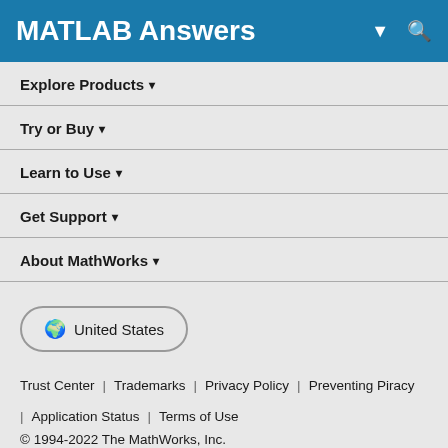MATLAB Answers
Explore Products ▾
Try or Buy ▾
Learn to Use ▾
Get Support ▾
About MathWorks ▾
🌐  United States
Trust Center | Trademarks | Privacy Policy | Preventing Piracy | Application Status | Terms of Use
© 1994-2022 The MathWorks, Inc.